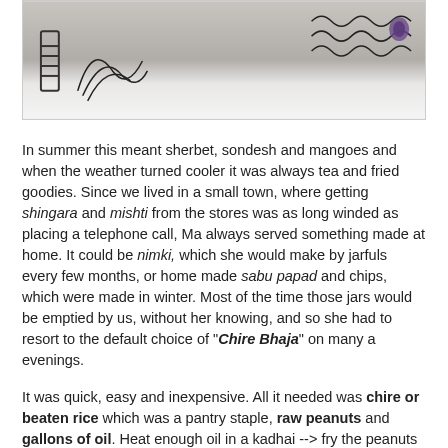[Figure (illustration): Top portion of an illustration or photo showing sketched/drawn figures against a light background]
In summer this meant sherbet, sondesh and mangoes and when the weather turned cooler it was always tea and fried goodies. Since we lived in a small town, where getting shingara and mishti from the stores was as long winded as placing a telephone call, Ma always served something made at home. It could be nimki, which she would make by jarfuls every few months, or home made sabu papad and chips, which were made in winter. Most of the time those jars would be emptied by us, without her knowing, and so she had to resort to the default choice of "Chire Bhaja" on many a evenings.
It was quick, easy and inexpensive. All it needed was chire or beaten rice which was a pantry staple, raw peanuts and gallons of oil. Heat enough oil in a kadhai --> fry the peanuts and remove--then fry the chire in a kadhai full of oil until they puff...